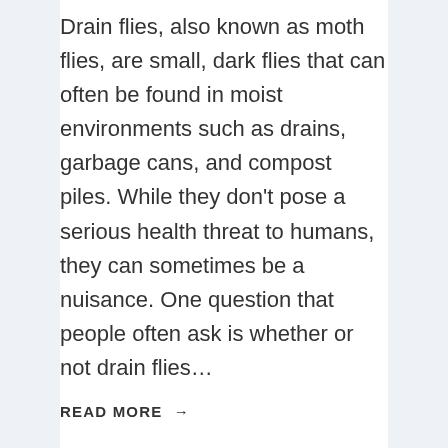Drain flies, also known as moth flies, are small, dark flies that can often be found in moist environments such as drains, garbage cans, and compost piles. While they don't pose a serious health threat to humans, they can sometimes be a nuisance. One question that people often ask is whether or not drain flies...
READ MORE →
[Figure (photo): A partially visible image placeholder with a grey gradient background, shown at the bottom of the page below a horizontal divider.]